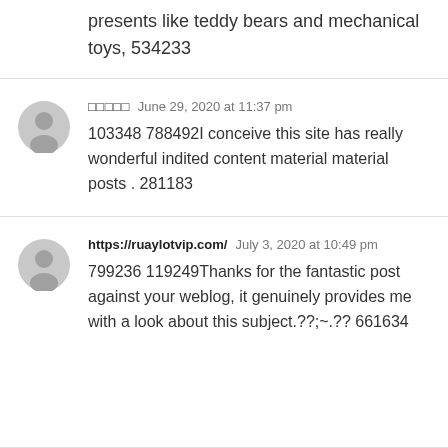presents like teddy bears and mechanical toys, 534233
□□□□□  June 29, 2020 at 11:37 pm
103348 788492I conceive this site has really wonderful indited content material material posts . 281183
https://ruaylotvip.com/  July 3, 2020 at 10:49 pm
799236 119249Thanks for the fantastic post against your weblog, it genuinely provides me with a look about this subject.??;~.?? 661634